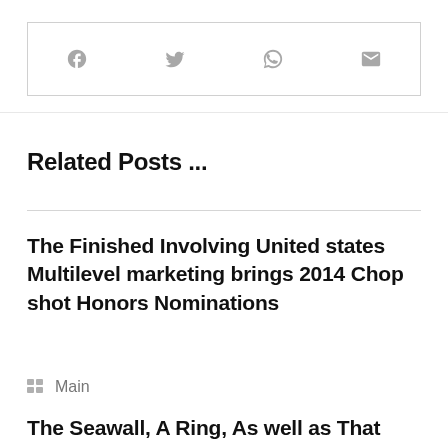[Figure (other): Social share bar with four icons: Facebook, Twitter, WhatsApp, Email]
Related Posts ...
The Finished Involving United states Multilevel marketing brings 2014 Chop shot Honors Nominations
Main
The Seawall, A Ring, As well as That Meatball (PC)